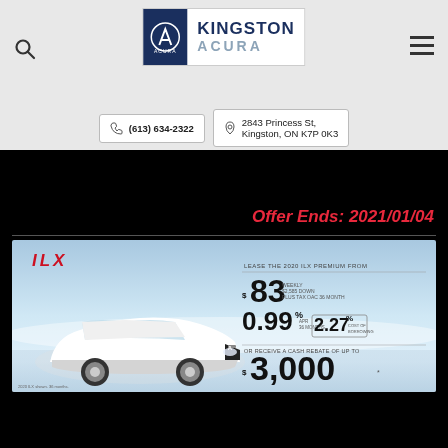Kingston Acura — (613) 634-2322 — 2843 Princess St, Kingston, ON K7P 0K3
Offer Ends: 2021/01/04
[Figure (photo): Acura ILX Premium advertisement showing white 2020 ILX sedan on snowy background. Lease from $83/week, 0.99% APR for 36 months (2.27% APR), or cash rebate of up to $3,000.]